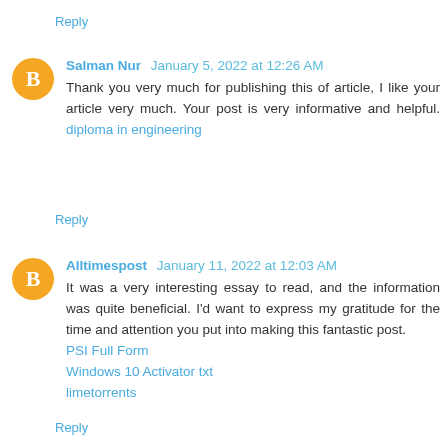Reply
Salman Nur  January 5, 2022 at 12:26 AM
Thank you very much for publishing this of article, I like your article very much. Your post is very informative and helpful. diploma in engineering
Reply
Alltimespost  January 11, 2022 at 12:03 AM
It was a very interesting essay to read, and the information was quite beneficial. I'd want to express my gratitude for the time and attention you put into making this fantastic post.
PSI Full Form
Windows 10 Activator txt
limetorrents
Reply